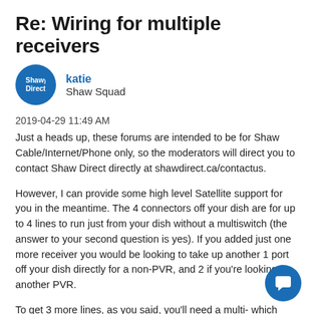Re: Wiring for multiple receivers
katie
Shaw Squad
2019-04-29 11:49 AM
Just a heads up, these forums are intended to be for Shaw Cable/Internet/Phone only, so the moderators will direct you to contact Shaw Direct directly at shawdirect.ca/contactus.
However, I can provide some high level Satellite support for you in the meantime. The 4 connectors off your dish are for up to 4 lines to run just from your dish without a multiswitch (the answer to your second question is yes). If you added just one more receiver you would be looking to take up another 1 port off your dish directly for a non-PVR, and 2 if you're looking for another PVR.
To get 3 more lines, as you said, you'll need a multi- which would have all four lines from the dish connecting to